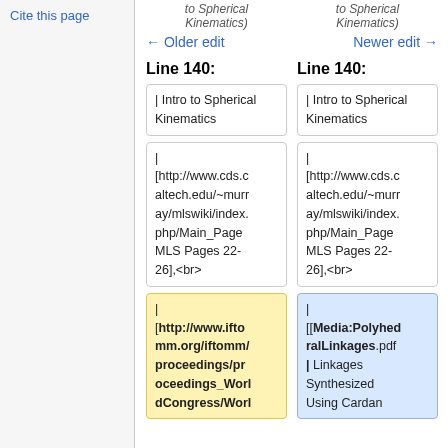Cite this page
to Spherical Kinematics)
to Spherical Kinematics)
← Older edit
Newer edit →
Line 140:
Line 140:
| Intro to Spherical Kinematics
| Intro to Spherical Kinematics
|
[http://www.cds.caltech.edu/~murray/mlswiki/index.php/Main_Page MLS Pages 22-26],<br>
|
[http://www.cds.caltech.edu/~murray/mlswiki/index.php/Main_Page MLS Pages 22-26],<br>
| [http://www.iftomm.org/iftomm/proceedings/proceedings_WorldCongress/Worl
| [[Media:PolyhedralLinkages.pdf | Linkages Synthesized Using Cardan